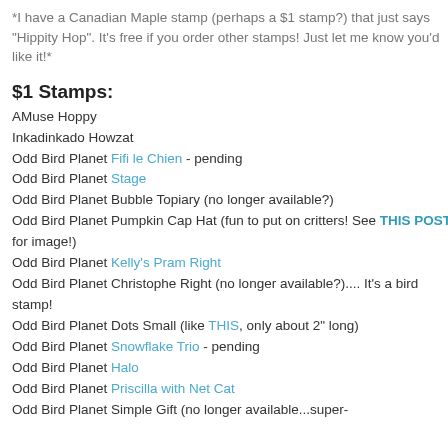*I have a Canadian Maple stamp (perhaps a $1 stamp?) that just says "Hippity Hop". It's free if you order other stamps! Just let me know you'd like it!*
$1 Stamps:
AMuse Hoppy
Inkadinkado Howzat
Odd Bird Planet Fifi le Chien - pending
Odd Bird Planet Stage
Odd Bird Planet Bubble Topiary (no longer available?)
Odd Bird Planet Pumpkin Cap Hat (fun to put on critters! See THIS POST for image!)
Odd Bird Planet Kelly's Pram Right
Odd Bird Planet Christophe Right (no longer available?).... It's a bird stamp!
Odd Bird Planet Dots Small (like THIS, only about 2" long)
Odd Bird Planet Snowflake Trio - pending
Odd Bird Planet Halo
Odd Bird Planet Priscilla with Net Cat
Odd Bird Planet Simple Gift (no longer available...super-small)